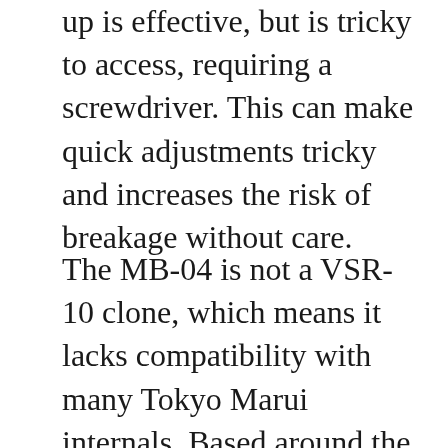up is effective, but is tricky to access, requiring a screwdriver. This can make quick adjustments tricky and increases the risk of breakage without care.
The MB-04 is not a VSR-10 clone, which means it lacks compatibility with many Tokyo Marui internals. Based around the MK/UTG L96 blueprint, it is still quite customizable. Grab yourself a tighter barrel and watch your accuracy sore. We also